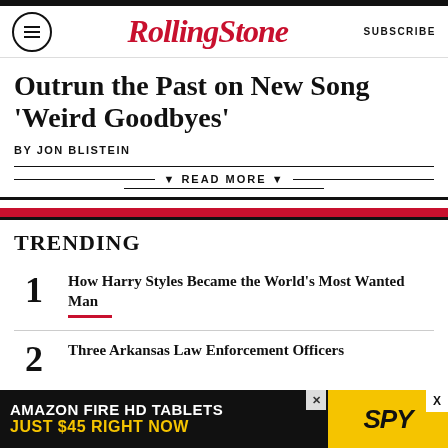RollingStone SUBSCRIBE
Outrun the Past on New Song 'Weird Goodbyes'
BY JON BLISTEIN
READ MORE
TRENDING
1 How Harry Styles Became the World's Most Wanted Man
2 Three Arkansas Law Enforcement Officers
[Figure (screenshot): Amazon Fire HD Tablets advertisement banner: 'AMAZON FIRE HD TABLETS JUST $45 RIGHT NOW' with SPY logo on yellow background]